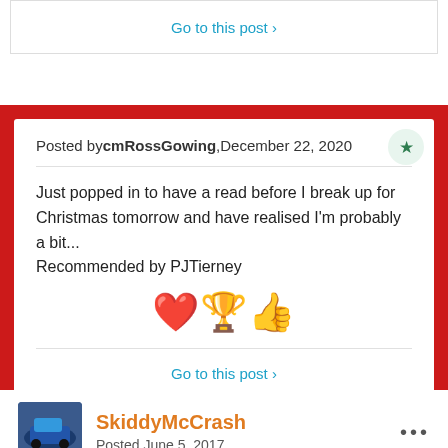Go to this post >
Posted by cmRossGowing, December 22, 2020
Just popped in to have a read before I break up for Christmas tomorrow and have realised I'm probably a bit... Recommended by PJTierney
[Figure (illustration): Emoji reactions: heart (love), trophy, thumbs up]
Go to this post >
SkiddyMcCrash
Posted June 5, 2017